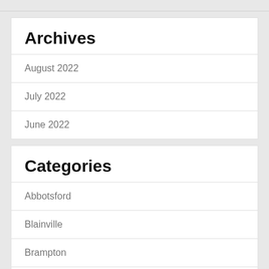Archives
August 2022
July 2022
June 2022
Categories
Abbotsford
Blainville
Brampton
Caledon